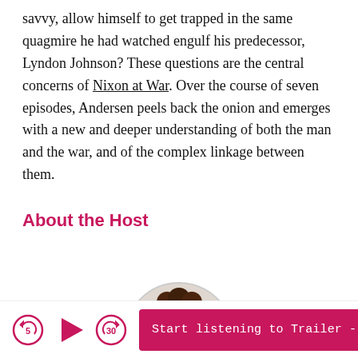savvy, allow himself to get trapped in the same quagmire he had watched engulf his predecessor, Lyndon Johnson? These questions are the central concerns of Nixon at War. Over the course of seven episodes, Andersen peels back the onion and emerges with a new and deeper understanding of both the man and the war, and of the complex linkage between them.
About the Host
[Figure (photo): Circular cropped photo of the host, showing the top of a person's head with curly brown hair, partially visible at the bottom of the content area.]